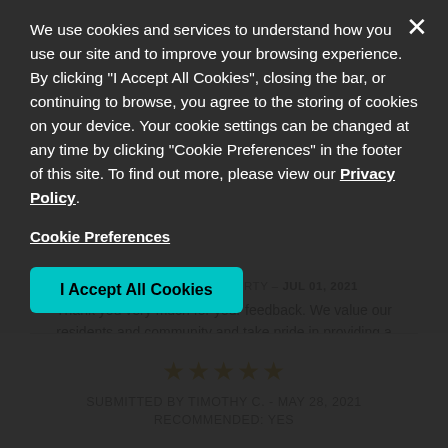We use cookies and services to understand how you use our site and to improve your browsing experience. By clicking "I Accept All Cookies", closing the bar, or continuing to browse, you agree to the storing of cookies on your device. Your cookie settings can be changed at any time by clicking "Cookie Preferences" in the footer of this site. To find out more, please view our Privacy Policy.
Cookie Preferences
I Accept All Cookies
RESPONSE FROM PROPERTY – JUL 01, 2021
Thank you very much for your feedback. We value our residents and community and take pride in providing a ... positive rating means a great deal to us because we truly strive to have loyal residents. Thanks again!
[Figure (other): Five gold stars rating]
SUBMITTED BY TIMOTHY C. - MAY 28, 2021
RECOMMENDED: YES